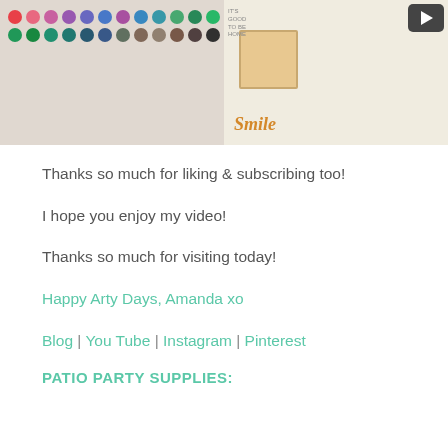[Figure (photo): A video thumbnail showing watercolor paint palette on the left and a scrapbook layout with floral decorations and a child's photo on the right, with a YouTube play button visible]
Thanks so much for liking & subscribing too!
I hope you enjoy my video!
Thanks so much for visiting today!
Happy Arty Days, Amanda xo
Blog | You Tube | Instagram | Pinterest
PATIO PARTY SUPPLIES: